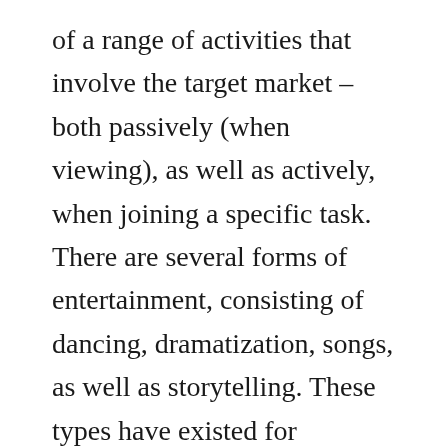of a range of activities that involve the target market – both passively (when viewing), as well as actively, when joining a specific task. There are several forms of entertainment, consisting of dancing, dramatization, songs, as well as storytelling. These types have existed for centuries, and also have advanced with time based upon changes in modern technology, culture, and also style.
While the term 'entertainment' can refer to a selection of activities that require little or no energetic engagement, it is usually used to define a pastime that involves a task or an efficiency. Entertainment might include